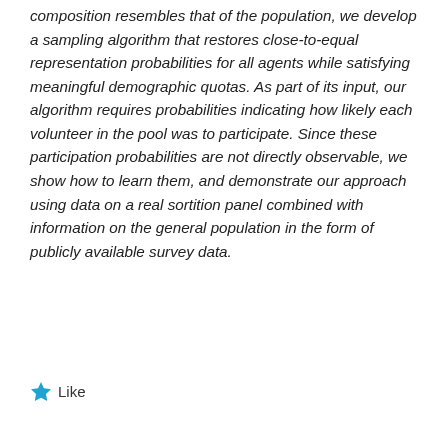composition resembles that of the population, we develop a sampling algorithm that restores close-to-equal representation probabilities for all agents while satisfying meaningful demographic quotas. As part of its input, our algorithm requires probabilities indicating how likely each volunteer in the pool was to participate. Since these participation probabilities are not directly observable, we show how to learn them, and demonstrate our approach using data on a real sortition panel combined with information on the general population in the form of publicly available survey data.
Like